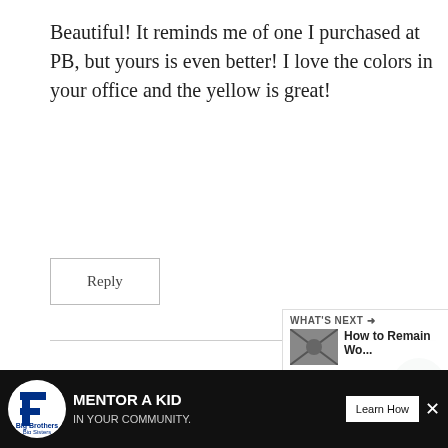Beautiful! It reminds me of one I purchased at PB, but yours is even better! I love the colors in your office and the yellow is great!
Reply
Angie at Postcards from the Pidge says:
February 23, 2015 at 11:58 pm
Thanks! I've seen them at PB and loved them for a long time. So glad I found this